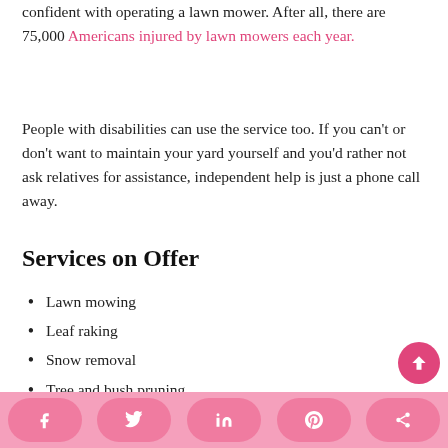confident with operating a lawn mower. After all, there are 75,000 Americans injured by lawn mowers each year.
People with disabilities can use the service too. If you can't or don't want to maintain your yard yourself and you'd rather not ask relatives for assistance, independent help is just a phone call away.
Services on Offer
Lawn mowing
Leaf raking
Snow removal
Tree and bush pruning
Flower planting and flowerbed maintenance